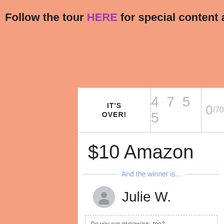Follow the tour HERE for special content a
[Figure (screenshot): Rafflecopter giveaway widget showing IT'S OVER! with 4755 entries, prize of $10 Amazon, winner Julie W., and a Rafflecopter promo box]
Do you run giveaways, too? Try Rafflecopter! It's free.